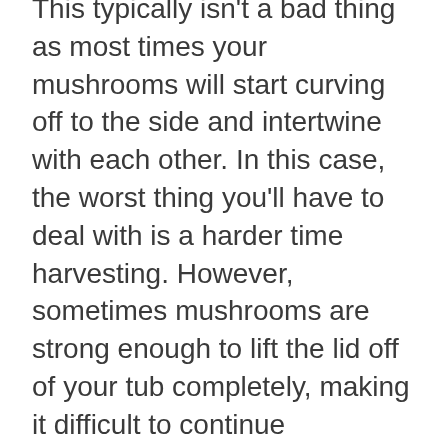This typically isn't a bad thing as most times your mushrooms will start curving off to the side and intertwine with each other. In this case, the worst thing you'll have to deal with is a harder time harvesting. However, sometimes mushrooms are strong enough to lift the lid off of your tub completely, making it difficult to continue controlling the environment.
The next awesome benefit of the dub tub is that it requires less attention. Because you have doubled the volume, you have also doubled climate. While it may not seem like a lot, this increase can dramatically reduce the need to open them up for fresh air exchange.
This can also save your sanity if you live in an area of low humidity. Every time you open your